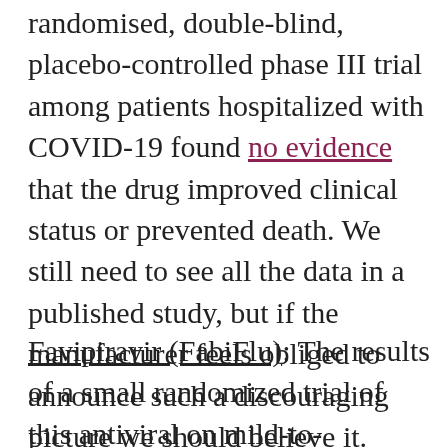randomised, double-blind, placebo-controlled phase III trial among patients hospitalized with COVID-19 found no evidence that the drug improved clinical status or prevented death. We still need to see all the data in a published study, but if the manufacturer feels obliged to announce such a discouraging picture we should believe it. Their drug had also done badly in a previous trial in Italy. Roche say a trial in patients with more severe disease will go forward, but it's hard to be optimistic.
Favipiravir (FabiFlu): The results of a small randomized trial of this antiviral on mild-to-moderate COVID-19 patients are said to show faster improvement in patients given the drug. Unfortunately the study is not only